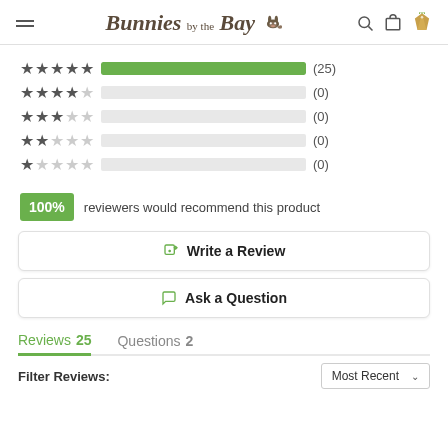Bunnies by the Bay
[Figure (other): Star rating breakdown bars: 5-star (25), 4-star (0), 3-star (0), 2-star (0), 1-star (0)]
100% reviewers would recommend this product
✎ Write a Review
💬 Ask a Question
Reviews 25    Questions 2
Filter Reviews:
Most Recent